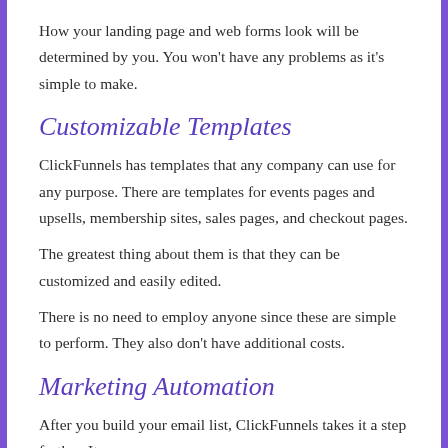How your landing page and web forms look will be determined by you. You won't have any problems as it's simple to make.
Customizable Templates
ClickFunnels has templates that any company can use for any purpose. There are templates for events pages and upsells, membership sites, sales pages, and checkout pages.
The greatest thing about them is that they can be customized and easily edited.
There is no need to employ anyone since these are simple to perform. They also don't have additional costs.
Marketing Automation
After you build your email list, ClickFunnels takes it a step further. It